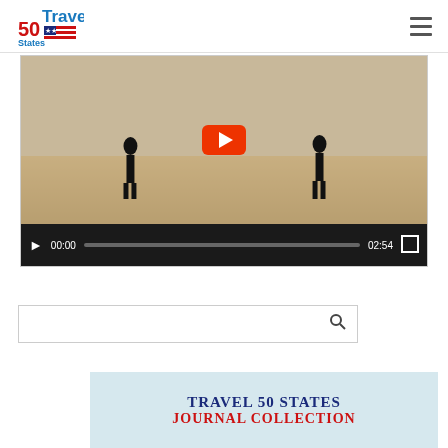Travel 50 States
[Figure (screenshot): Embedded video player showing a beach scene with two silhouetted figures and a YouTube play button. Video controls show 00:00 current time and 02:54 duration.]
[Figure (screenshot): Search bar with a search icon on the right]
[Figure (illustration): Travel 50 States Journal Collection book cover image with light blue background, showing title in navy and red text]